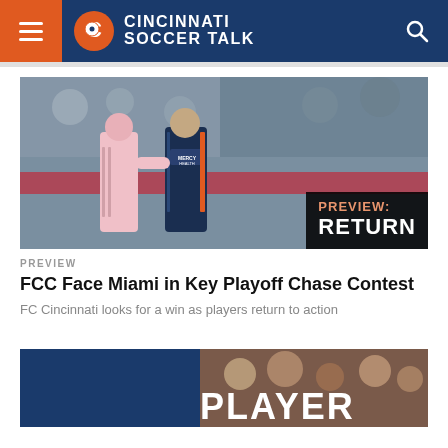Cincinnati Soccer Talk
[Figure (photo): Two soccer players in action — one in pink Inter Miami kit and one in dark FC Cincinnati Mercy Health kit — with a PREVIEW: RETURN overlay text on the right side of the image]
PREVIEW
FCC Face Miami in Key Playoff Chase Contest
FC Cincinnati looks for a win as players return to action
[Figure (photo): Partial image at the bottom showing FC Cincinnati players, partially visible text 'PLAYER' in white on a dark blue background]